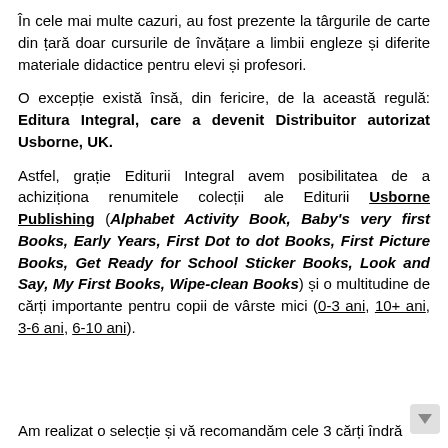În cele mai multe cazuri, au fost prezente la târgurile de carte din țară doar cursurile de învățare a limbii engleze și diferite materiale didactice pentru elevi și profesori.
O excepție există însă, din fericire, de la această regulă: Editura Integral, care a devenit Distribuitor autorizat Usborne, UK.
Astfel, grație Editurii Integral avem posibilitatea de a achiziționa renumitele colecții ale Editurii Usborne Publishing (Alphabet Activity Book, Baby's very first Books, Early Years, First Dot to dot Books, First Picture Books, Get Ready for School Sticker Books, Look and Say, My First Books, Wipe-clean Books) și o multitudine de cărți importante pentru copii de vârste mici (0-3 ani, 10+ ani, 3-6 ani, 6-10 ani).
Am realizat o selecție și vă recomandăm cele 3 cărți îndră...